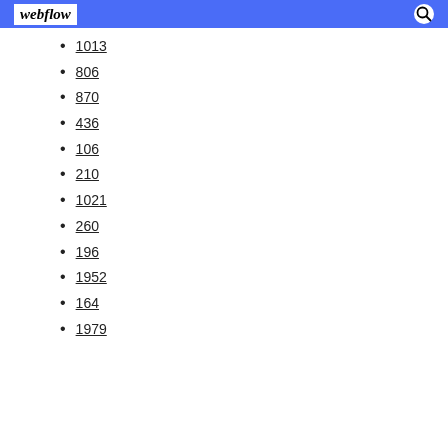webflow
1013
806
870
436
106
210
1021
260
196
1952
164
1979